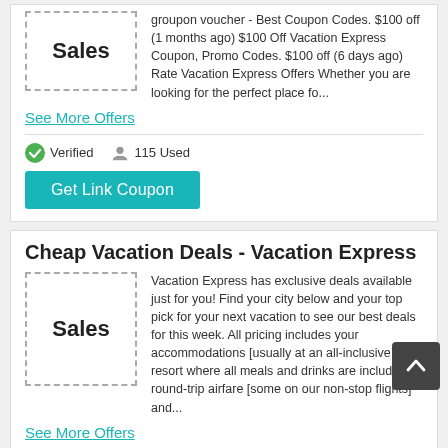[Figure (illustration): Sales badge with dashed border]
groupon voucher - Best Coupon Codes. $100 off (1 months ago) $100 Off Vacation Express Coupon, Promo Codes. $100 off (6 days ago) Rate Vacation Express Offers Whether you are looking for the perfect place fo...
See More Offers
Verified   115 Used
Get Link Coupon
Cheap Vacation Deals - Vacation Express
[Figure (illustration): Sales badge with dashed border]
Vacation Express has exclusive deals available just for you! Find your city below and your top pick for your next vacation to see our best deals for this week. All pricing includes your accommodations [usually at an all-inclusive resort where all meals and drinks are included] round-trip airfare [some on our non-stop flights] and...
See More Offers
Verified   810 Used
Get Link Coupon